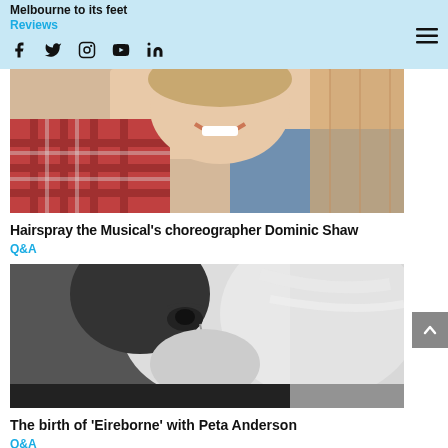Melbourne to its feet
Reviews
[Figure (photo): Close-up photo of a smiling man wearing a plaid shirt and blue denim jacket]
Hairspray the Musical's choreographer Dominic Shaw
Q&A
[Figure (photo): Black and white close-up photo of a blonde woman looking to the side]
The birth of 'Eireborne' with Peta Anderson
Q&A